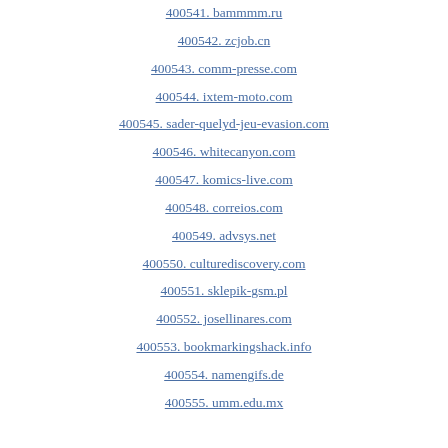400541. bammmm.ru
400542. zcjob.cn
400543. comm-presse.com
400544. ixtem-moto.com
400545. sader-quelyd-jeu-evasion.com
400546. whitecanyon.com
400547. komics-live.com
400548. correios.com
400549. advsys.net
400550. culturediscovery.com
400551. sklepik-gsm.pl
400552. josellinares.com
400553. bookmarkingshack.info
400554. namengifs.de
400555. umm.edu.mx